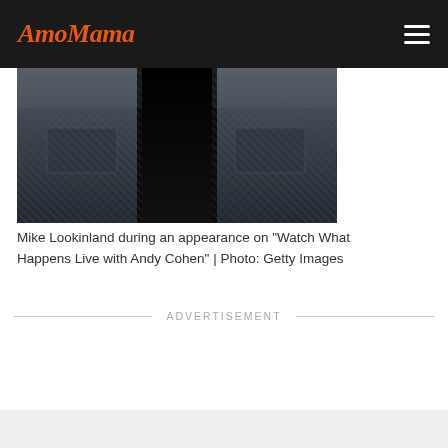AmoMama
[Figure (photo): Close-up photo of Mike Lookinland wearing a dark gray textured blazer/jacket, with a dark shirt or open collar visible in the center. The image is cropped showing the torso/jacket area.]
Mike Lookinland during an appearance on "Watch What Happens Live with Andy Cohen" | Photo: Getty Images
ADVERTISEMENT